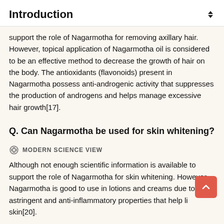Introduction
support the role of Nagarmotha for removing axillary hair. However, topical application of Nagarmotha oil is considered to be an effective method to decrease the growth of hair on the body. The antioxidants (flavonoids) present in Nagarmotha possess anti-androgenic activity that suppresses the production of androgens and helps manage excessive hair growth[17].
Q. Can Nagarmotha be used for skin whitening?
MODERN SCIENCE VIEW
Although not enough scientific information is available to support the role of Nagarmotha for skin whitening. However, Nagarmotha is good to use in lotions and creams due to its astringent and anti-inflammatory properties that help li skin[20].
AYURVEDIC VIEW
Nagarmotha helps improve skin whitening. Applying